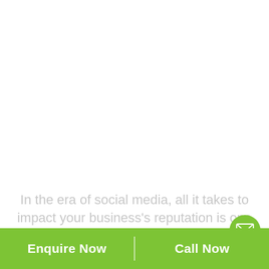In the era of social media, all it takes to impact your business's reputation is one dissatisfied customer! Responding to negative reviews is always an intimidating task, even when you're ...
[Figure (illustration): We're Hiring badge with megaphone icon on the left side]
[Figure (illustration): Green circle with white envelope/email icon on the right side]
Enquire Now | Call Now